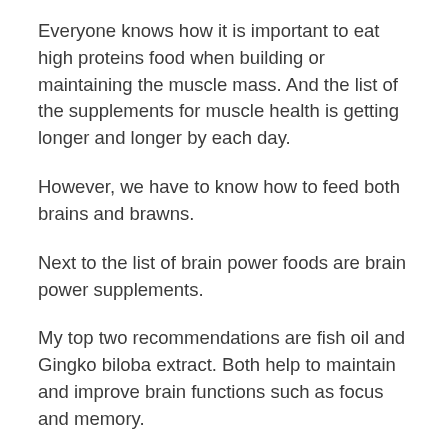Everyone knows how it is important to eat high proteins food when building or maintaining the muscle mass. And the list of the supplements for muscle health is getting longer and longer by each day.
However, we have to know how to feed both brains and brawns.
Next to the list of brain power foods are brain power supplements.
My top two recommendations are fish oil and Gingko biloba extract. Both help to maintain and improve brain functions such as focus and memory.